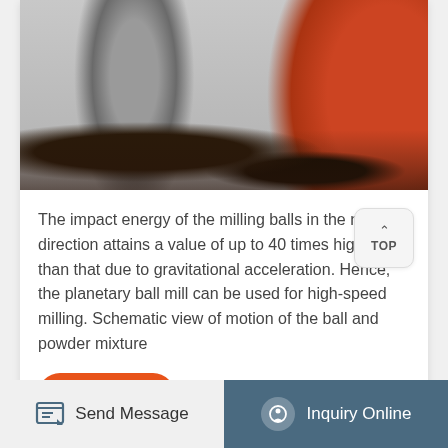[Figure (photo): Industrial machinery photo showing metal plates scattered on a factory floor with a grey cylindrical column and a large red/orange ball mill machine on the right side]
The impact energy of the milling balls in the normal direction attains a value of up to 40 times higher than that due to gravitational acceleration. Hence, the planetary ball mill can be used for high-speed milling. Schematic view of motion of the ball and powder mixture
Get Price
Send Message
Inquiry Online